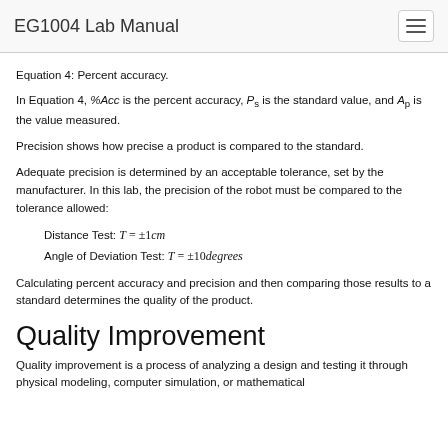EG1004 Lab Manual
Equation 4: Percent accuracy.
In Equation 4, %Acc is the percent accuracy, P_s is the standard value, and A_p is the value measured.
Precision shows how precise a product is compared to the standard.
Adequate precision is determined by an acceptable tolerance, set by the manufacturer. In this lab, the precision of the robot must be compared to the tolerance allowed:
Calculating percent accuracy and precision and then comparing those results to a standard determines the quality of the product.
Quality Improvement
Quality improvement is a process of analyzing a design and testing it through physical modeling, computer simulation, or mathematical